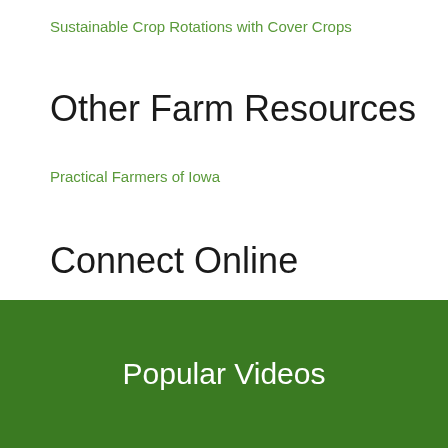Sustainable Crop Rotations with Cover Crops
Other Farm Resources
Practical Farmers of Iowa
Connect Online
[Figure (infographic): Social media icons: Facebook, Twitter, YouTube, RSS feed]
Popular Videos